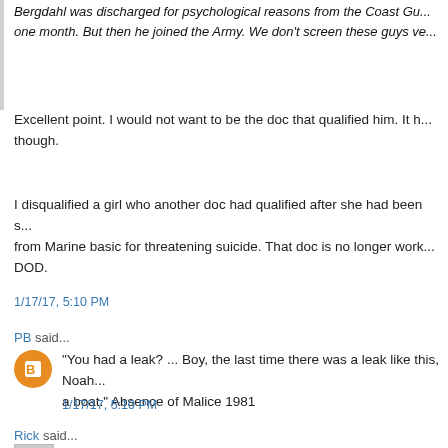Bergdahl was discharged for psychological reasons from the Coast Guard after one month. But then he joined the Army. We don't screen these guys very...
Excellent point. I would not want to be the doc that qualified him. It happens though.
I disqualified a girl who another doc had qualified after she had been sent home from Marine basic for threatening suicide. That doc is no longer working for DOD.
1/17/17, 5:10 PM
PB said...
"You had a leak? ... Boy, the last time there was a leak like this, Noah built a boat." Absence of Malice 1981
1/17/17, 5:10 PM
Rick said...
Once again Obama shows he's all about politics...